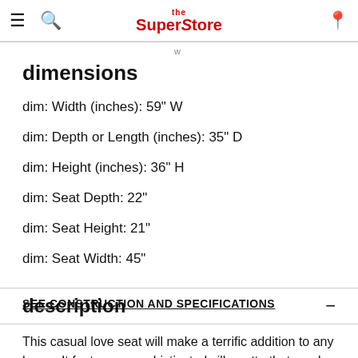the SuperStore — navigation bar with hamburger menu, search icon, logo, and pin/location icon
dimensions
dim: Width (inches): 59" W
dim: Depth or Length (inches): 35" D
dim: Height (inches): 36" H
dim: Seat Depth: 22"
dim: Seat Height: 21"
dim: Seat Width: 45"
SEE CONSTRUCTION AND SPECIFICATIONS
description
This casual love seat will make a terrific addition to any home. It features a sophisticated silhouette that can be dressed up or down depending on the room setting.